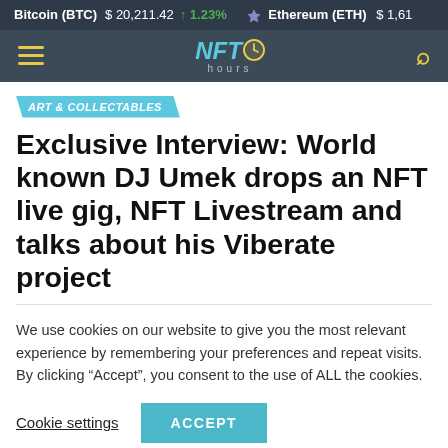Bitcoin (BTC) $20,211.42 ↑1.23% Ethereum (ETH) $1,61...
NFT hours
ART & COLLECTABLES
Exclusive Interview: World known DJ Umek drops an NFT live gig, NFT Livestream and talks about his Viberate project
We use cookies on our website to give you the most relevant experience by remembering your preferences and repeat visits. By clicking "Accept", you consent to the use of ALL the cookies.
Cookie settings  ACCEPT